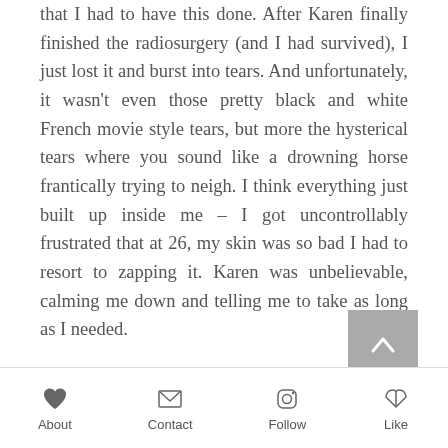that I had to have this done. After Karen finally finished the radiosurgery (and I had survived), I just lost it and burst into tears. And unfortunately, it wasn't even those pretty black and white French movie style tears, but more the hysterical tears where you sound like a drowning horse frantically trying to neigh. I think everything just built up inside me – I got uncontrollably frustrated that at 26, my skin was so bad I had to resort to zapping it. Karen was unbelievable, calming me down and telling me to take as long as I needed.

After taking a bit of a break and drinking some water, we got back into it and went
About   Contact   Follow   Like